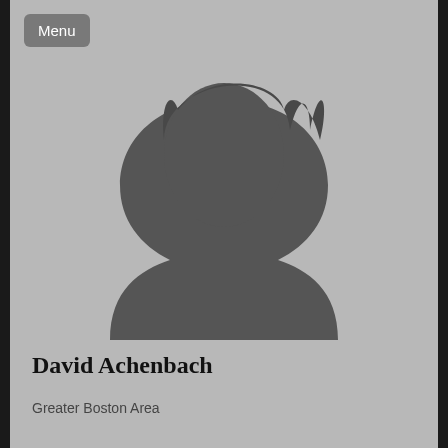[Figure (illustration): Default LinkedIn profile silhouette — generic grey person outline (head and shoulders) on a light grey background]
David Achenbach
Greater Boston Area